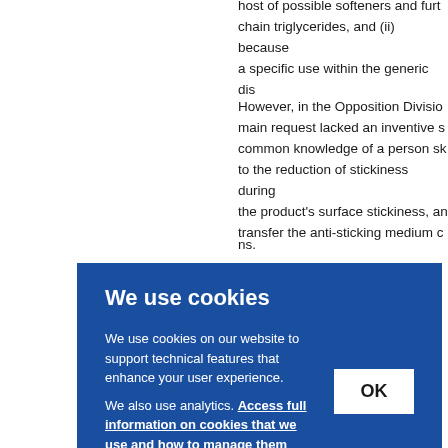host of possible softeners and furtchain triglycerides, and (ii) because a specific use within the generic dis
However, in the Opposition Division main request lacked an inventive s common knowledge of a person sk to the reduction of stickiness during the product's surface stickiness, an transfer the anti-sticking medium c
ns.
ition reque n trig
f Clai edium storag
We use cookies
We use cookies on our website to support technical features that enhance your user experience.
We also use analytics. Access full information on cookies that we use and how to manage them
OK